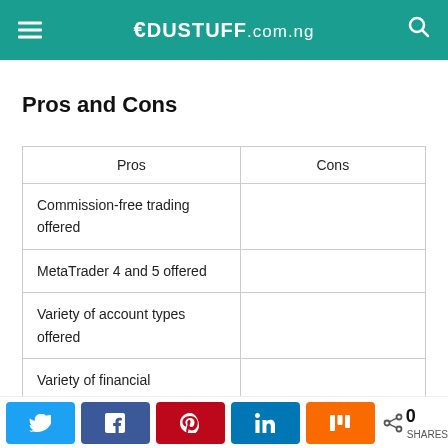EDUSTUFF.com.ng
Pros and Cons
| Pros | Cons |
| --- | --- |
| Commission-free trading offered |  |
| MetaTrader 4 and 5 offered |  |
| Variety of account types offered |  |
| Variety of financial instruments |  |